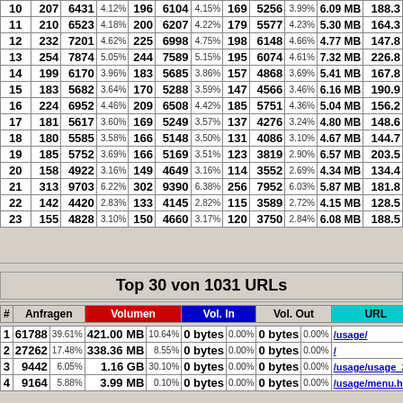| # | Anfragen |  | % | Volumen |  | % | Vol. In |  | % | Vol. Out | MB/s |
| --- | --- | --- | --- | --- | --- | --- | --- | --- | --- | --- | --- |
| 10 | 207 | 6431 | 4.12% | 196 | 6104 | 4.15% | 169 | 5256 | 3.99% | 6.09 MB | 188.3 |
| 11 | 210 | 6523 | 4.18% | 200 | 6207 | 4.22% | 179 | 5577 | 4.23% | 5.30 MB | 164.3 |
| 12 | 232 | 7201 | 4.62% | 225 | 6998 | 4.75% | 198 | 6148 | 4.66% | 4.77 MB | 147.8 |
| 13 | 254 | 7874 | 5.05% | 244 | 7589 | 5.15% | 195 | 6074 | 4.61% | 7.32 MB | 226.8 |
| 14 | 199 | 6170 | 3.96% | 183 | 5685 | 3.86% | 157 | 4868 | 3.69% | 5.41 MB | 167.8 |
| 15 | 183 | 5682 | 3.64% | 170 | 5288 | 3.59% | 147 | 4566 | 3.46% | 6.16 MB | 190.9 |
| 16 | 224 | 6952 | 4.46% | 209 | 6508 | 4.42% | 185 | 5751 | 4.36% | 5.04 MB | 156.2 |
| 17 | 181 | 5617 | 3.60% | 169 | 5249 | 3.57% | 137 | 4276 | 3.24% | 4.80 MB | 148.6 |
| 18 | 180 | 5585 | 3.58% | 166 | 5148 | 3.50% | 131 | 4086 | 3.10% | 4.67 MB | 144.7 |
| 19 | 185 | 5752 | 3.69% | 166 | 5169 | 3.51% | 123 | 3819 | 2.90% | 6.57 MB | 203.5 |
| 20 | 158 | 4922 | 3.16% | 149 | 4649 | 3.16% | 114 | 3552 | 2.69% | 4.34 MB | 134.4 |
| 21 | 313 | 9703 | 6.22% | 302 | 9390 | 6.38% | 256 | 7952 | 6.03% | 5.87 MB | 181.8 |
| 22 | 142 | 4420 | 2.83% | 133 | 4145 | 2.82% | 115 | 3589 | 2.72% | 4.15 MB | 128.5 |
| 23 | 155 | 4828 | 3.10% | 150 | 4660 | 3.17% | 120 | 3750 | 2.84% | 6.08 MB | 188.5 |
Top 30 von 1031 URLs
| # | Anfragen |  | Volumen |  | Vol. In |  | Vol. Out |  | URL |
| --- | --- | --- | --- | --- | --- | --- | --- | --- | --- |
| 1 | 61788 | 39.61% | 421.00 MB | 10.64% | 0 bytes | 0.00% | 0 bytes | 0.00% | /usage/ |
| 2 | 27262 | 17.48% | 338.36 MB | 8.55% | 0 bytes | 0.00% | 0 bytes | 0.00% | / |
| 3 | 9442 | 6.05% | 1.16 GB | 30.10% | 0 bytes | 0.00% | 0 bytes | 0.00% | /usage/usage_201 |
| 4 | 9164 | 5.88% | 3.99 MB | 0.10% | 0 bytes | 0.00% | 0 bytes | 0.00% | /usage/menu.html |